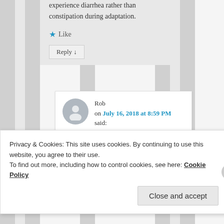experience diarrhea rather than constipation during adaptation.
★ Like
Reply ↓
Rob on July 16, 2018 at 8:59 PM said:
Yes as I
Privacy & Cookies: This site uses cookies. By continuing to use this website, you agree to their use.
To find out more, including how to control cookies, see here: Cookie Policy